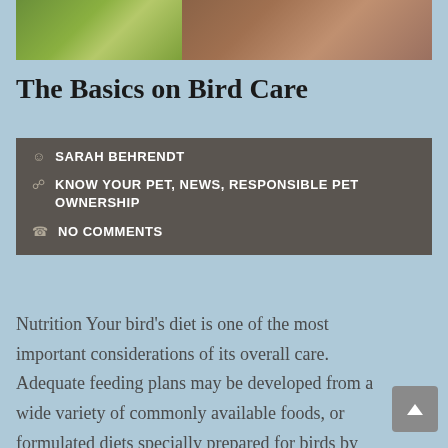[Figure (photo): Partial top photo of birds — green budgie on left, reddish-brown bird on right]
The Basics on Bird Care
SARAH BEHRENDT
KNOW YOUR PET, NEWS, RESPONSIBLE PET OWNERSHIP
NO COMMENTS
Nutrition Your bird's diet is one of the most important considerations of its overall care. Adequate feeding plans may be developed from a wide variety of commonly available foods, or formulated diets specially prepared for birds by commercial